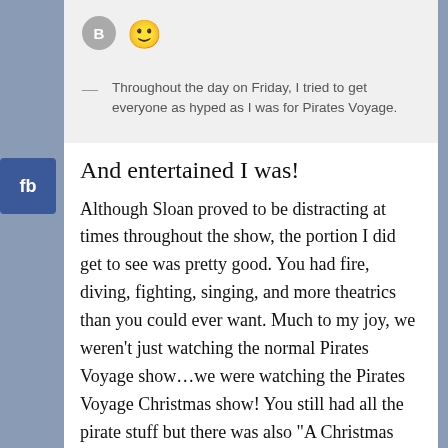[Figure (illustration): User avatar circle with letter B and smiley emoji icon in a light grey quote block]
Throughout the day on Friday, I tried to get everyone as hyped as I was for Pirates Voyage.
And entertained I was!
Although Sloan proved to be distracting at times throughout the show, the portion I did get to see was pretty good. You had fire, diving, fighting, singing, and more theatrics than you could ever want. Much to my joy, we weren't just watching the normal Pirates Voyage show…we were watching the Pirates Voyage Christmas show! You still had all the pirate stuff but there was also "A Christmas